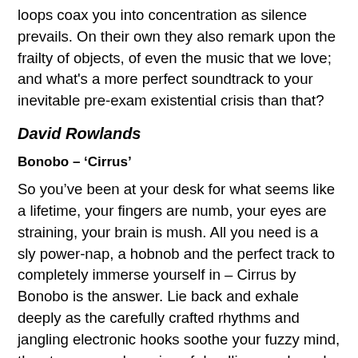loops coax you into concentration as silence prevails. On their own they also remark upon the frailty of objects, of even the music that we love; and what's a more perfect soundtrack to your inevitable pre-exam existential crisis than that?
David Rowlands
Bonobo – 'Cirrus'
So you've been at your desk for what seems like a lifetime, your fingers are numb, your eyes are straining, your brain is mush. All you need is a sly power-nap, a hobnob and the perfect track to completely immerse yourself in – Cirrus by Bonobo is the answer. Lie back and exhale deeply as the carefully crafted rhythms and jangling electronic hooks soothe your fuzzy mind, the stresses and worries of deadlines and word counts fade into